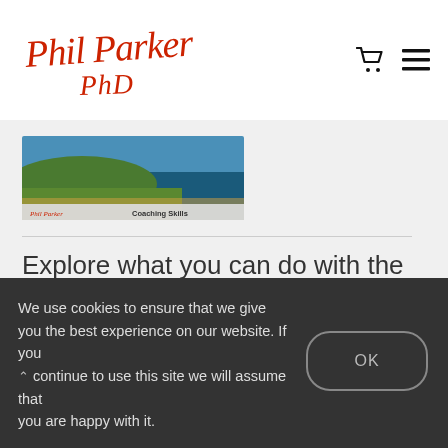Phil Parker PhD
[Figure (photo): Book/course cover image for Phil Parker Coaching Skills, showing landscape and logo]
Explore what you can do with the extraordinary skills of coaching, taught by the world-famous coach Dr. Phil
We use cookies to ensure that we give you the best experience on our website. If you continue to use this site we will assume that you are happy with it.